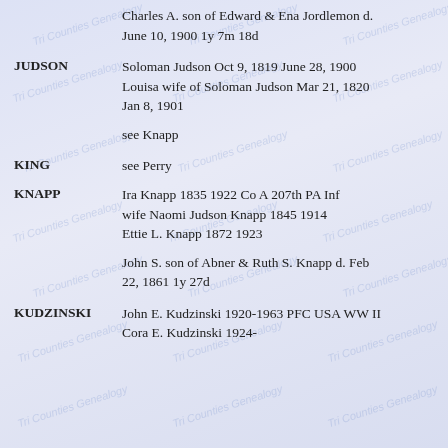Charles A. son of Edward & Ena Jordlemon d. June 10, 1900 1y 7m 18d
JUDSON — Soloman Judson Oct 9, 1819 June 28, 1900
Louisa wife of Soloman Judson Mar 21, 1820 Jan 8, 1901
see Knapp
KING — see Perry
KNAPP — Ira Knapp 1835 1922 Co A 207th PA Inf
wife Naomi Judson Knapp 1845 1914
Ettie L. Knapp 1872 1923
John S. son of Abner & Ruth S. Knapp d. Feb 22, 1861 1y 27d
KUDZINSKI — John E. Kudzinski 1920-1963 PFC USA WW II
Cora E. Kudzinski 1924-